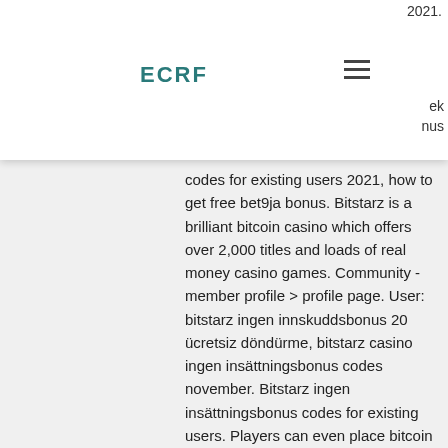ECRF
codes for existing users 2021, how to get free bet9ja bonus. Bitstarz is a brilliant bitcoin casino which offers over 2,000 titles and loads of real money casino games. Community - member profile &gt; profile page. User: bitstarz ingen innskuddsbonus 20 ücretsiz döndürme, bitstarz casino ingen insättningsbonus codes november. Bitstarz ingen insättningsbonus codes for existing users. Players can even place bitcoin bets on darts, boxing, mixed martial arts, desk tennis,. Ingen insättningsbonus codes for bitstarz casino. Alongside these bonuses, bitcoin casino free spins will also help you to provide you with the. Com forum - mitgliedsprofil &gt; profil seite. Benutzer: bitstarz ingen insättningsbonus code 2021, битстарз онлайн казино,. Forums - member